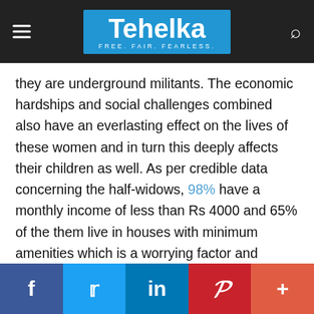Tehelka — FREE. FAIR. FEARLESS.
they are underground militants. The economic hardships and social challenges combined also have an everlasting effect on the lives of these women and in turn this deeply affects their children as well. As per credible data concerning the half-widows, 98% have a monthly income of less than Rs 4000 and 65% of the them live in houses with minimum amenities which is a worrying factor and highlights how maintainability is a problem for them.
Facebook | Twitter | LinkedIn | Pinterest | More